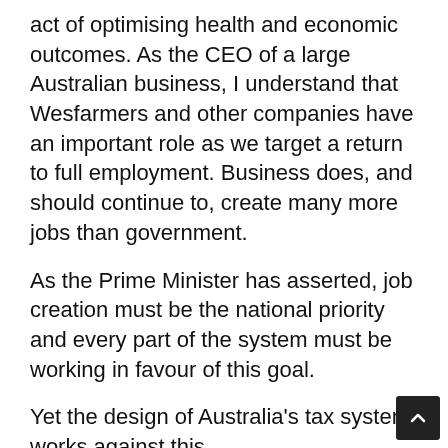act of optimising health and economic outcomes. As the CEO of a large Australian business, I understand that Wesfarmers and other companies have an important role as we target a return to full employment. Business does, and should continue to, create many more jobs than government.
As the Prime Minister has asserted, job creation must be the national priority and every part of the system must be working in favour of this goal.
Yet the design of Australia's tax system works against this.
But why focus on tax reform when we are addressing the health and economic pandemic crisis? Well, indeed, it has never been a better time and leadership demands an eye to the future as well as today's crisis. As a federation, we must use all the levers at our disposal to